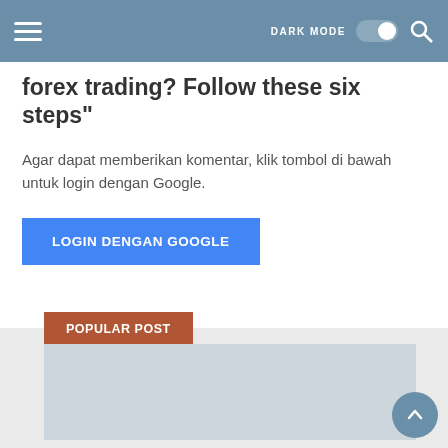DARK MODE [toggle] [search]
forex trading? Follow these six steps"
Agar dapat memberikan komentar, klik tombol di bawah untuk login dengan Google.
LOGIN DENGAN GOOGLE
POPULAR POST